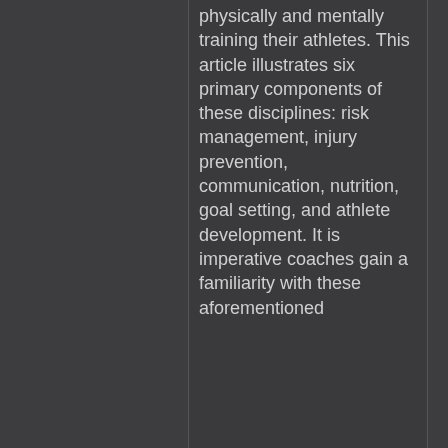physically and mentally training their athletes. This article illustrates six primary components of these disciplines: risk management, injury prevention, communication, nutrition, goal setting, and athlete development. It is imperative coaches gain a familiarity with these aforementioned